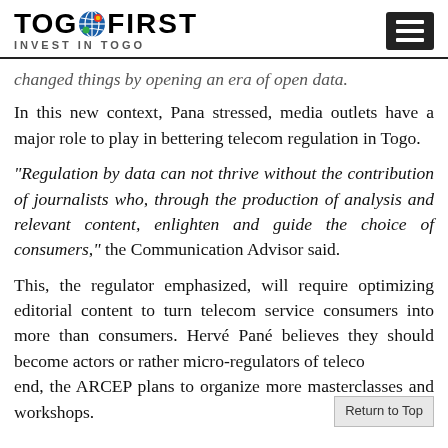TOGOFIRST INVEST IN TOGO
changed things by opening an era of open data. In this new context, Pana stressed, media outlets have a major role to play in bettering telecom regulation in Togo.
"Regulation by data can not thrive without the contribution of journalists who, through the production of analysis and relevant content, enlighten and guide the choice of consumers," the Communication Advisor said.
This, the regulator emphasized, will require optimizing editorial content to turn telecom service consumers into more than consumers. Hervé Pané believes they should become actors or rather micro-regulators of telecom end, the ARCEP plans to organize more masterclasses and workshops.